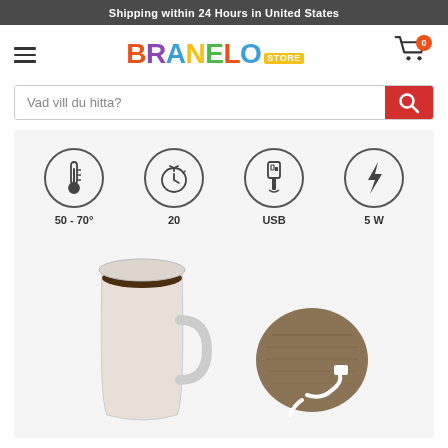Shipping within 24 Hours in United States
[Figure (logo): Branelo Store colorful logo with hamburger menu and shopping cart with badge showing 0]
Vad vill du hitta?
[Figure (infographic): Product feature icons: thermometer (50-70°), timer (20), USB connector (USB), lightning bolt (5W), with a coffee mug and USB warming pad below]